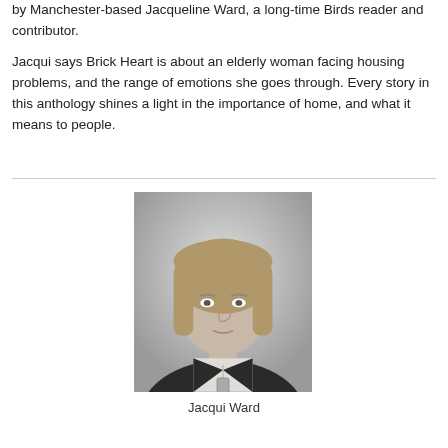by Manchester-based Jacqueline Ward, a long-time Birds reader and contributor.
Jacqui says Brick Heart is about an elderly woman facing housing problems, and the range of emotions she goes through. Every story in this anthology shines a light in the importance of home, and what it means to people.
[Figure (photo): Black and white portrait photograph of Jacqui Ward, a middle-aged woman with shoulder-length light hair, wearing a dark blazer and a rectangular pendant necklace.]
Jacqui Ward